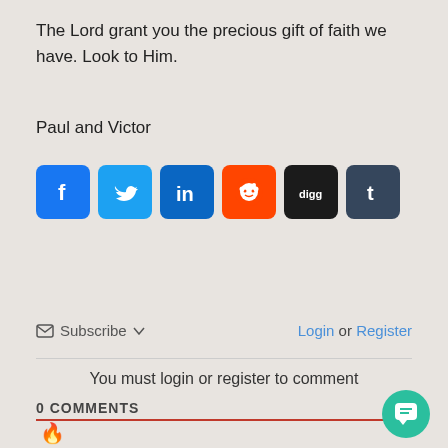The Lord grant you the precious gift of faith we have. Look to Him.
Paul and Victor
[Figure (other): Social media share icons: Facebook, Twitter, LinkedIn, Reddit, Digg, Tumblr]
Subscribe ▼
Login or Register
You must login or register to comment
0 COMMENTS
[Figure (other): Flame icon with orange underline bar indicating active tab, and teal chat bubble button in bottom right]